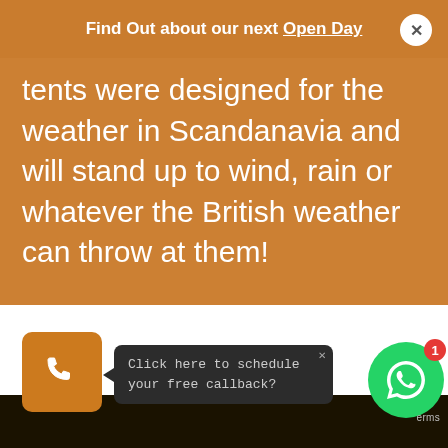Find Out about our next Open Day
tents were designed for the weather in Scandanavia and will stand up to wind, rain or whatever the British weather can throw at them!
Click here to schedule your free callback?